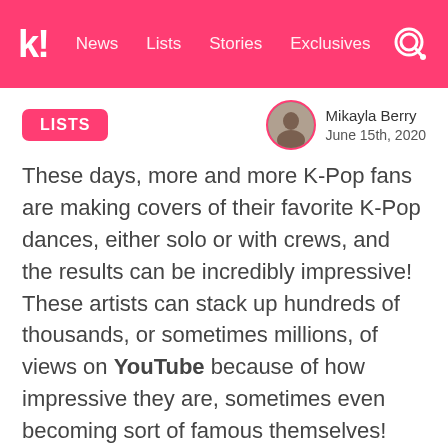k! News Lists Stories Exclusives
LISTS
Mikayla Berry
June 15th, 2020
These days, more and more K-Pop fans are making covers of their favorite K-Pop dances, either solo or with crews, and the results can be incredibly impressive! These artists can stack up hundreds of thousands, or sometimes millions, of views on YouTube because of how impressive they are, sometimes even becoming sort of famous themselves! These are the 20 most-watched dance covers of 2020 so far, all with a huge amount of views!
20. “Black Swan” by BTS, covered by